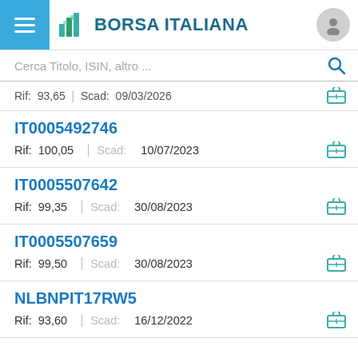BORSA ITALIANA
Cerca Titolo, ISIN, altro ...
Rif: 93,65 | Scad: 09/03/2026
IT0005492746
Rif: 100,05 | Scad: 10/07/2023
IT0005507642
Rif: 99,35 | Scad: 30/08/2023
IT0005507659
Rif: 99,50 | Scad: 30/08/2023
NLBNPIT17RW5
Rif: 93,60 | Scad: 16/12/2022